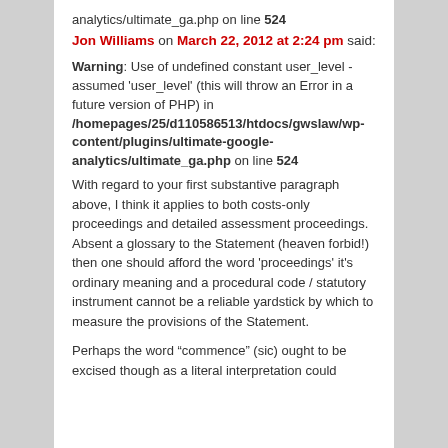analytics/ultimate_ga.php on line 524
Jon Williams on March 22, 2012 at 2:24 pm said:
Warning: Use of undefined constant user_level - assumed 'user_level' (this will throw an Error in a future version of PHP) in /homepages/25/d110586513/htdocs/gwslaw/wp-content/plugins/ultimate-google-analytics/ultimate_ga.php on line 524
With regard to your first substantive paragraph above, I think it applies to both costs-only proceedings and detailed assessment proceedings. Absent a glossary to the Statement (heaven forbid!) then one should afford the word 'proceedings' it's ordinary meaning and a procedural code / statutory instrument cannot be a reliable yardstick by which to measure the provisions of the Statement.
Perhaps the word “commence” (sic) ought to be excised though as a literal interpretation could